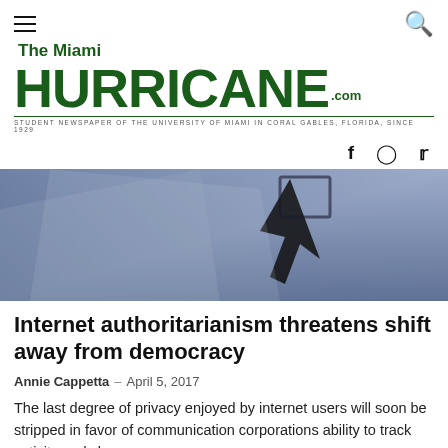The Miami HURRICANE.com — STUDENT NEWSPAPER OF THE UNIVERSITY OF MIAMI IN CORAL GABLES, FLORIDA, SINCE 1929
[Figure (photo): Close-up photo of a dark computer cursor/arrow icon on a blue-grey gradient background, geometric shapes visible.]
Internet authoritarianism threatens shift away from democracy
Annie Cappetta  –  April 5, 2017
The last degree of privacy enjoyed by internet users will soon be stripped in favor of communication corporations ability to track activity and slow...